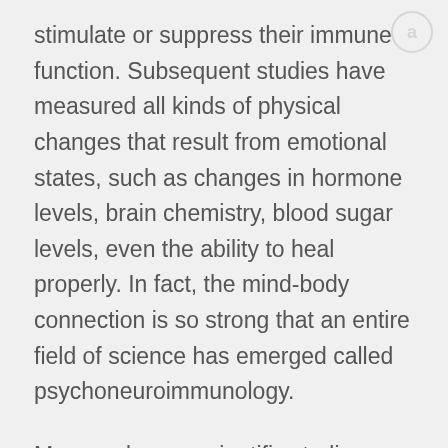stimulate or suppress their immune function. Subsequent studies have measured all kinds of physical changes that result from emotional states, such as changes in hormone levels, brain chemistry, blood sugar levels, even the ability to heal properly. In fact, the mind-body connection is so strong that an entire field of science has emerged called psychoneuroimmunology.

More and more scientific studies are published on a daily basis proving the idea that thoughts and emotions have a powerful influence over our physical health. This is one of the reasons why people are much more likely to get sick during job changes, holidays and other stressful times; or why people who are depressed have a much higher risk